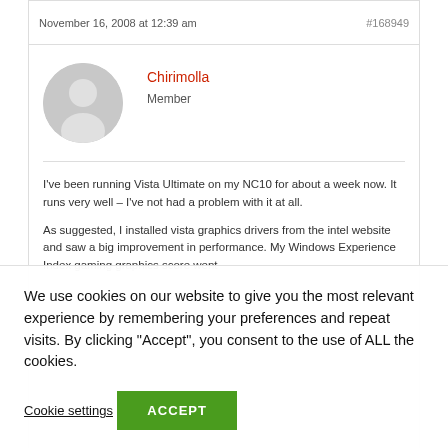November 16, 2008 at 12:39 am  #168949
[Figure (illustration): Generic user avatar: gray circle with a white silhouette of a person's head and shoulders]
Chirimolla
Member
I've been running Vista Ultimate on my NC10 for about a week now. It runs very well – I've not had a problem with it at all.

As suggested, I installed vista graphics drivers from the intel website and saw a big improvement in performance. My Windows Experience Index gaming graphics score went
We use cookies on our website to give you the most relevant experience by remembering your preferences and repeat visits. By clicking "Accept", you consent to the use of ALL the cookies.
Cookie settings  ACCEPT